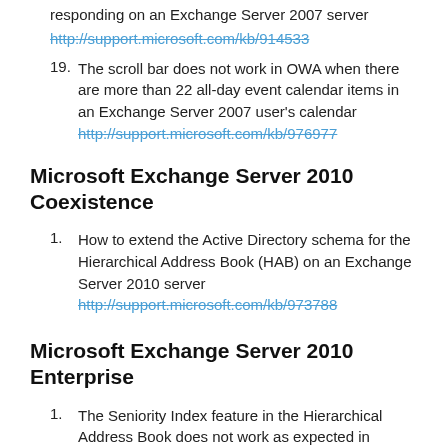responding on an Exchange Server 2007 server http://support.microsoft.com/kb/914533
19. The scroll bar does not work in OWA when there are more than 22 all-day event calendar items in an Exchange Server 2007 user's calendar http://support.microsoft.com/kb/976977
Microsoft Exchange Server 2010 Coexistence
1. How to extend the Active Directory schema for the Hierarchical Address Book (HAB) on an Exchange Server 2010 server http://support.microsoft.com/kb/973788
Microsoft Exchange Server 2010 Enterprise
1. The Seniority Index feature in the Hierarchical Address Book does not work as expected in Exchange Server 2010 http://support.microsoft.com/kb/2448288
Microsoft Exchange Server 2010 Standard
1. Exchange Server 2010 data base...